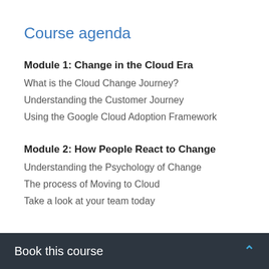Course agenda
Module 1: Change in the Cloud Era
What is the Cloud Change Journey?
Understanding the Customer Journey
Using the Google Cloud Adoption Framework
Module 2: How People React to Change
Understanding the Psychology of Change
The process of Moving to Cloud
Take a look at your team today
Book this course